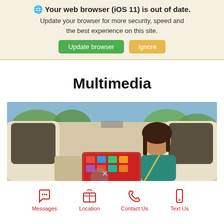🌐 Your web browser (iOS 11) is out of date. Update your browser for more security, speed and the best experience on this site. Update browser | Ignore
Multimedia
[Figure (photo): View from back seat of a car showing a woman driver and a red touchscreen multimedia display on the dashboard]
Messages  Location  Contact Us  Text Us